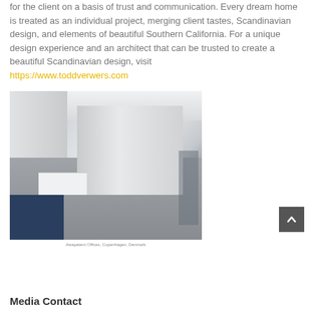for the client on a basis of trust and communication. Every dream home is treated as an individual project, merging client tastes, Scandinavian design, and elements of beautiful Southern California. For a unique design experience and an architect that can be trusted to create a beautiful Scandinavian design, visit https://www.toddverwers.com
[Figure (photo): Interior photo of a modern Scandinavian-style office corridor with white walls, grey floor, blue carpet area, reception desk, and coat rack. Minimalist design.]
Awapatent Offices, Copenhagen, Denmark
Media Contact